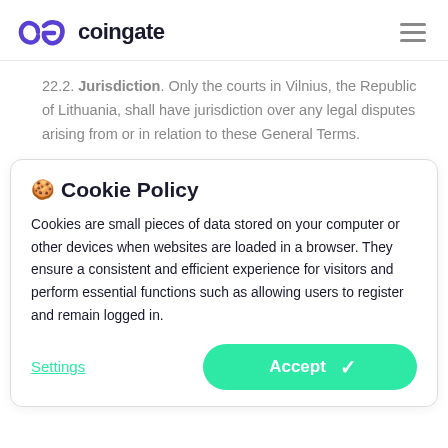coingate
22.2. Jurisdiction. Only the courts in Vilnius, the Republic of Lithuania, shall have jurisdiction over any legal disputes arising from or in relation to these General Terms.
🍪 Cookie Policy
Cookies are small pieces of data stored on your computer or other devices when websites are loaded in a browser. They ensure a consistent and efficient experience for visitors and perform essential functions such as allowing users to register and remain logged in.